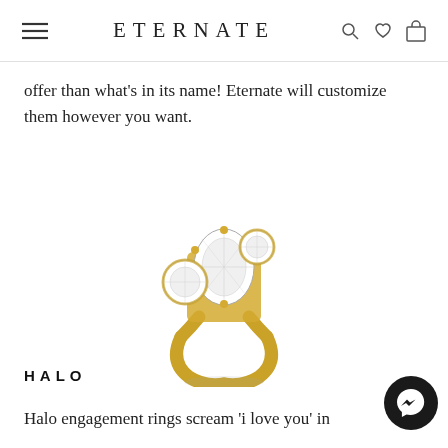ETERNATE
offer than what's in its name! Eternate will customize them however you want.
[Figure (photo): A gold three-stone engagement ring with a large oval diamond center stone flanked by two smaller round diamonds, shown on a white background.]
HALO
Halo engagement rings scream 'i love you' in